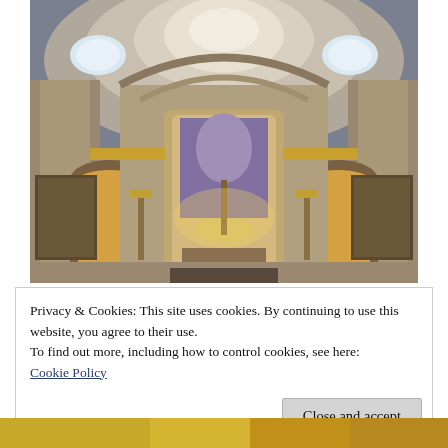[Figure (photo): Interior of an ornate Baroque church showing the main altar with gilded decorations, chandelier candelabras, painted ceiling dome with oval windows, and elaborate architectural details in warm golden and stone tones.]
Privacy & Cookies: This site uses cookies. By continuing to use this website, you agree to their use.
To find out more, including how to control cookies, see here:
Cookie Policy
Close and accept
[Figure (photo): Bottom strip showing a partial view of a golden-toned image, likely part of another church photo below the cookie banner.]